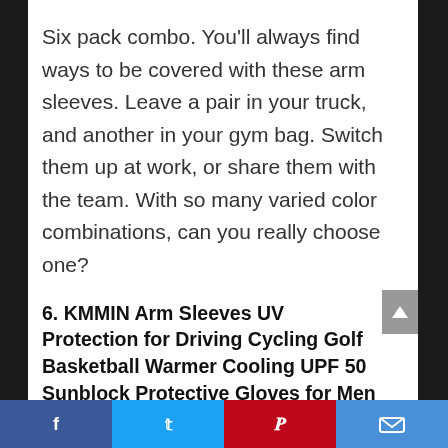Six pack combo. You'll always find ways to be covered with these arm sleeves. Leave a pair in your truck, and another in your gym bag. Switch them up at work, or share them with the team. With so many varied color combinations, can you really choose one?
6. KMMIN Arm Sleeves UV Protection for Driving Cycling Golf Basketball Warmer Cooling UPF 50 Sunblock Protective Gloves for Men Women Adults Covering Tattoos
Facebook | Twitter | Pinterest | Email